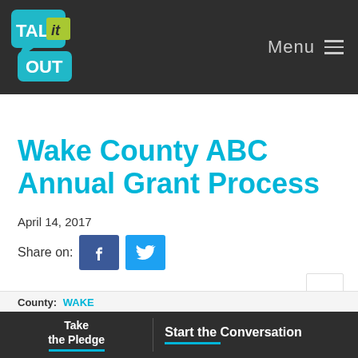[Figure (logo): Talk it Out logo with speech bubble icons in teal and green on dark background, next to Menu hamburger icon]
Wake County ABC Annual Grant Process
April 14, 2017
Share on: [Facebook button] [Twitter button]
Take the Pledge | Start the Conversation
County: Wake